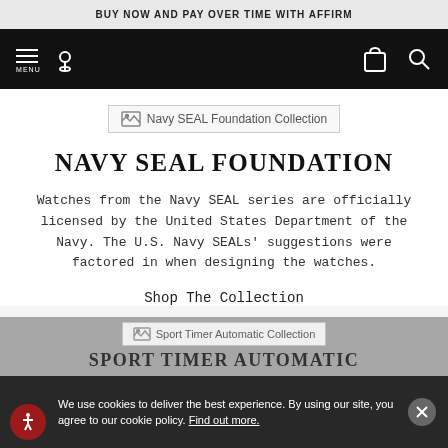BUY NOW AND PAY OVER TIME WITH AFFIRM
[Figure (screenshot): Black navigation bar with hamburger menu (MENU), location pin icon on left side, and shopping bag and search icons on right side]
[Figure (illustration): Broken image placeholder with text: Navy SEAL Foundation Collection]
NAVY SEAL FOUNDATION
Watches from the Navy SEAL series are officially licensed by the United States Department of the Navy. The U.S. Navy SEALs' suggestions were factored in when designing the watches.
Shop The Collection
[Figure (illustration): Broken image placeholder with text: Sport Timer Automatic Collection]
SPORT TIMER AUTOMATIC
We use cookies to deliver the best experience. By using our site, you agree to our cookie policy. Find out more.